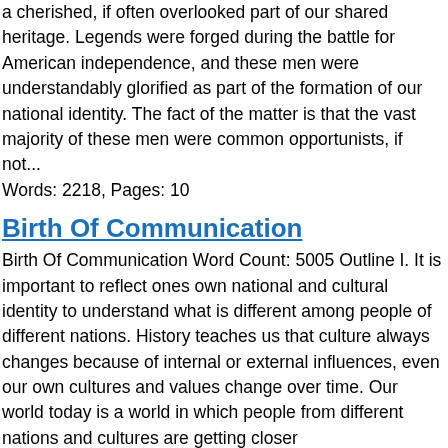a cherished, if often overlooked part of our shared heritage. Legends were forged during the battle for American independence, and these men were understandably glorified as part of the formation of our national identity. The fact of the matter is that the vast majority of these men were common opportunists, if not...
Words: 2218, Pages: 10
Birth Of Communication
Birth Of Communication Word Count: 5005 Outline I. It is important to reflect ones own national and cultural identity to understand what is different among people of different nations. History teaches us that culture always changes because of internal or external influences, even our own cultures and values change over time. Our world today is a world in which people from different nations and cultures are getting closer